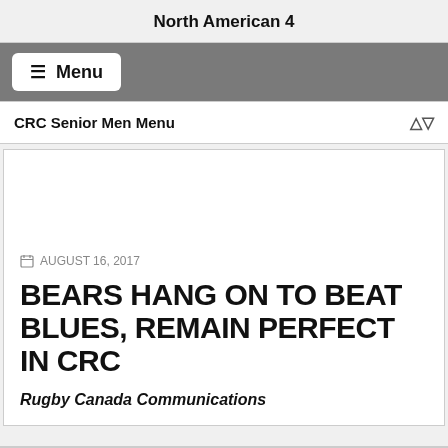North American 4
≡ Menu
CRC Senior Men Menu
AUGUST 16, 2017
BEARS HANG ON TO BEAT BLUES, REMAIN PERFECT IN CRC
Rugby Canada Communications